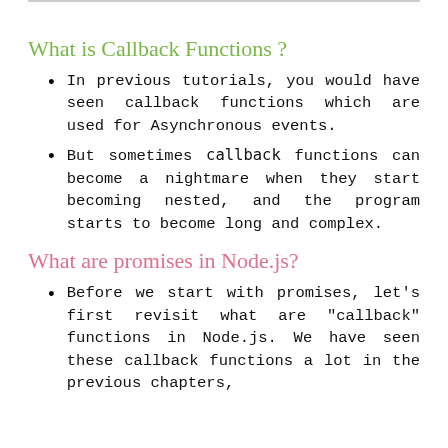What is Callback Functions ?
In previous tutorials, you would have seen callback functions which are used for Asynchronous events.
But sometimes callback functions can become a nightmare when they start becoming nested, and the program starts to become long and complex.
What are promises in Node.js?
Before we start with promises, let's first revisit what are "callback" functions in Node.js. We have seen these callback functions a lot in the previous chapters,